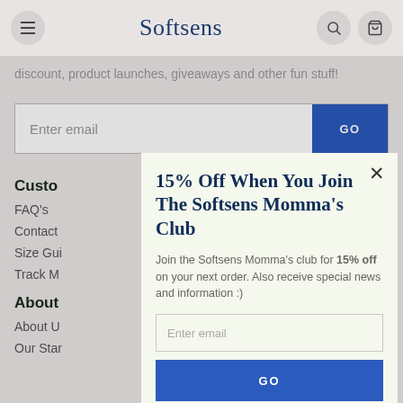Softsens
...discount, product launches, giveaways and other fun stuff!
Enter email | GO
Customer
FAQ's
Contact
Size Gui
Track M
About
About U
Our Star
15% Off When You Join The Softsens Momma's Club
Join the Softsens Momma's club for 15% off on your next order. Also receive special news and information :)
Enter email
GO